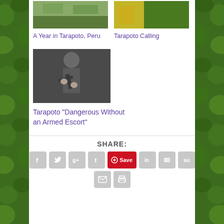[Figure (photo): Landscape photo thumbnail - top left]
A Year in Tarapoto, Peru
[Figure (photo): Colorful building photo thumbnail - top right]
Tarapoto Calling
[Figure (photo): Person holding a rifle/gun photo]
Tarapoto “Dangerous Without an Armed Escort”
SHARE:
[Figure (infographic): Social share buttons: Facebook, Twitter, Google+, Tumblr, Pinterest Save, LinkedIn, Buffer, StumbleUpon, Email, Print]